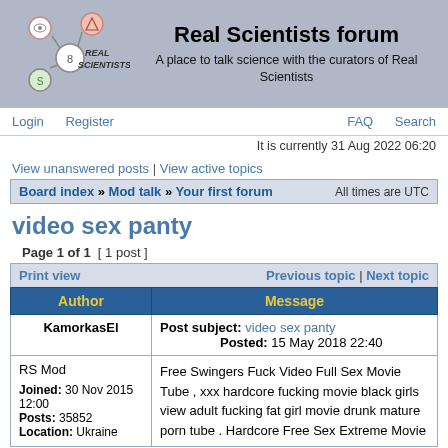Real Scientists forum — A place to talk science with the curators of Real Scientists
Login | Register | FAQ | Search
It is currently 31 Aug 2022 06:20
View unanswered posts | View active topics
Board index » Mod talk » Your first forum   All times are UTC
video sex panty
Page 1 of 1  [ 1 post ]
| Author | Message |
| --- | --- |
| KamorkasEl | Post subject: video sex panty
Posted: 15 May 2018 22:40 |
| RS Mod
Joined: 30 Nov 2015 12:00
Posts: 35852
Location: Ukraine | Free Swingers Fuck Video Full Sex Movie Tube , xxx hardcore fucking movie black girls view adult fucking fat girl movie drunk mature porn tube . Hardcore Free Sex Extreme Movie |